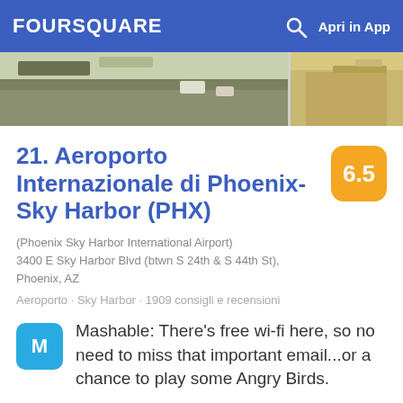FOURSQUARE  Apri in App
[Figure (photo): Aerial/overhead view of Phoenix Sky Harbor airport grounds and roadways]
21. Aeroporto Internazionale di Phoenix-Sky Harbor (PHX)
(Phoenix Sky Harbor International Airport)
3400 E Sky Harbor Blvd (btwn S 24th & S 44th St), Phoenix, AZ
Aeroporto · Sky Harbor · 1909 consigli e recensioni
Mashable: There's free wi-fi here, so no need to miss that important email...or a chance to play some Angry Birds.